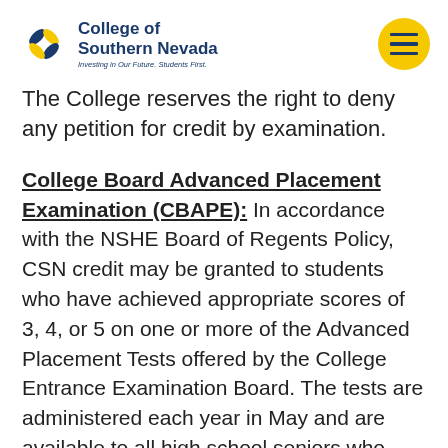[Figure (logo): College of Southern Nevada logo with pinwheel icon and tagline 'Investing in Our Future. Students First.']
The College reserves the right to deny any petition for credit by examination.
College Board Advanced Placement Examination (CBAPE): In accordance with the NSHE Board of Regents Policy, CSN credit may be granted to students who have achieved appropriate scores of 3, 4, or 5 on one or more of the Advanced Placement Tests offered by the College Entrance Examination Board. The tests are administered each year in May and are available to all high school seniors who have